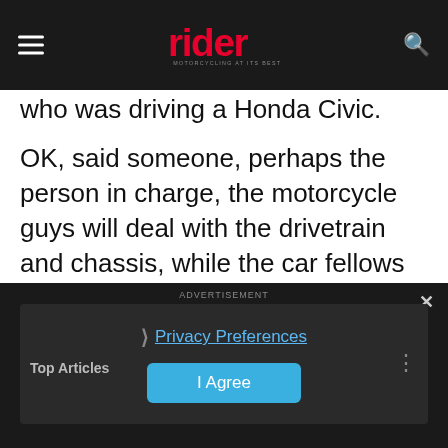rider — MOTORCYCLING AT ITS BEST
who was driving a Honda Civic.
OK, said someone, perhaps the person in charge, the motorcycle guys will deal with the drivetrain and chassis, while the car fellows will look after the bodywork. An interesting notion. The moto-press was mildly impressed, more by Honda’s effort to bring in new riders with a new design than by the bike itself.
[Figure (screenshot): Advertisement overlay with Privacy Preferences link, I Agree button, Top Articles label, and close button on dark background]